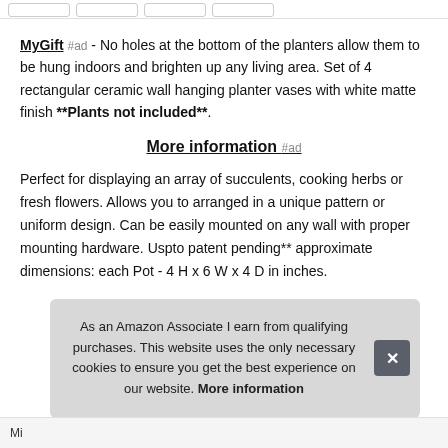MyGift #ad - No holes at the bottom of the planters allow them to be hung indoors and brighten up any living area. Set of 4 rectangular ceramic wall hanging planter vases with white matte finish **Plants not included**.
More information #ad
Perfect for displaying an array of succulents, cooking herbs or fresh flowers. Allows you to arranged in a unique pattern or uniform design. Can be easily mounted on any wall with proper mounting hardware. Uspto patent pending** approximate dimensions: each Pot - 4 H x 6 W x 4 D in inches.
As an Amazon Associate I earn from qualifying purchases. This website uses the only necessary cookies to ensure you get the best experience on our website. More information